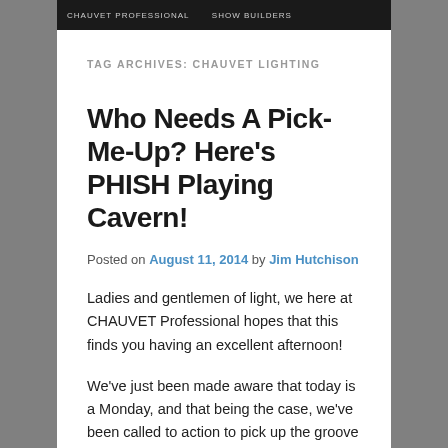TAG ARCHIVES: CHAUVET LIGHTING
Who Needs A Pick-Me-Up? Here's PHISH Playing Cavern!
Posted on August 11, 2014 by Jim Hutchison
Ladies and gentlemen of light, we here at CHAUVET Professional hopes that this finds you having an excellent afternoon!
We've just been made aware that today is a Monday, and that being the case, we've been called to action to pick up the groove of the day.  We here at the CHAUVET Professional Blog can only heed the call, so we've whipped up a good dish of Phish to put the funk back in